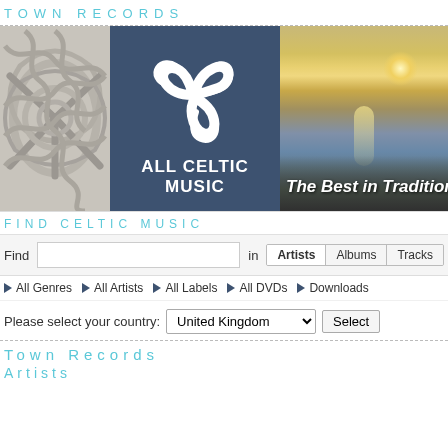TOWN RECORDS
[Figure (logo): All Celtic Music banner with Celtic knot pattern on left, dark blue logo with triskelion symbol and text ALL CELTIC MUSIC in center, sunset coastal photo on right with tagline The Best in Tradition]
FIND CELTIC MUSIC
Find [search box] in Artists | Albums | Tracks
All Genres   All Artists   All Labels   All DVDs   Downloads
Please select your country: United Kingdom [Select]
Town Records
Artists